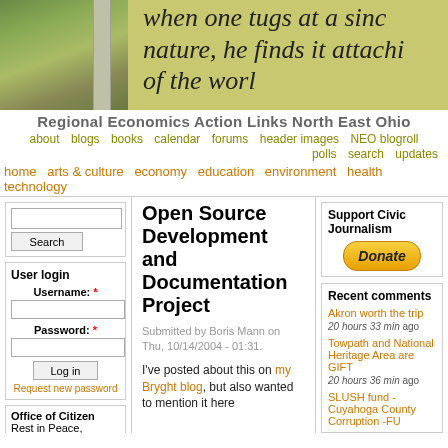[Figure (photo): Website header banner with yellow-green background showing handwritten text 'when one tugs at a single strand of nature, he finds it attached to the rest of the world' and a nature photo on the left with pillars]
Regional Economics Action Links North East Ohio
about  blogs  books  calendar  forums  header images  NEO blogroll  polls  search  updates
home  arts & culture  economy  education  environment  health  technology
Search
User login
Username: *
Password: *
Log in
Request new password
Office of Citizen
Rest in Peace,
Open Source Development and Documentation Project
Submitted by Boris Mann on Thu, 10/14/2004 - 01:31.
I've posted about this on my Bryght blog, but also wanted to mention it here
Support Civic Journalism
[Figure (other): Donate button in golden/yellow gradient rounded rectangle]
Recent comments
Akron worth the trip
20 hours 33 min ago
Towpath and National Heritage Area are GIFT
20 hours 36 min ago
SLUSH fund - Cuyahoga County Corruption -FU